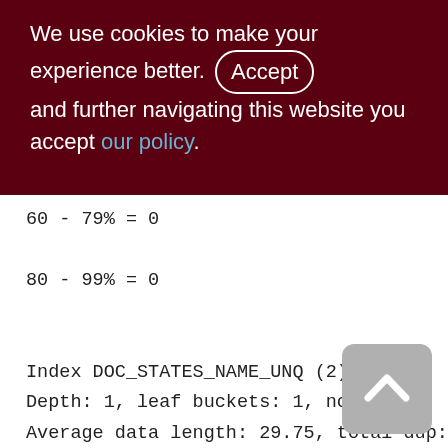We use cookies to make your experience better. By accepting and further navigating this website you accept our policy.
60 - 79% = 0
80 - 99% = 0
Index DOC_STATES_NAME_UNQ (2)
Depth: 1, leaf buckets: 1, nodes: 4
Average data length: 29.75, total dup: 0,
max dup: 0
Fill distribution:
0 - 19% = 1
20 - 39% = 0
40 - 59% = 0
60 - 79% = 0
80 - 99% = 0